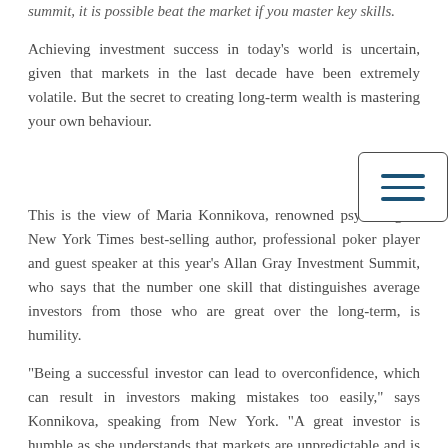summit, it is possible beat the market if you master key skills.
Achieving investment success in today's world is uncertain, given that markets in the last decade have been extremely volatile. But the secret to creating long-term wealth is mastering your own behaviour.
[Figure (other): Hamburger menu icon: three horizontal dark blue lines inside a rounded rectangle border]
This is the view of Maria Konnikova, renowned psychologist, New York Times best-selling author, professional poker player and guest speaker at this year's Allan Gray Investment Summit, who says that the number one skill that distinguishes average investors from those who are great over the long-term, is humility.
“Being a successful investor can lead to overconfidence, which can result in investors making mistakes too easily,” says Konnikova, speaking from New York. “A great investor is humble as she understands that markets are unpredictable and is therefore able to take onboard feedback to inform her strategy.”
Behaviour has more than the skills that all...